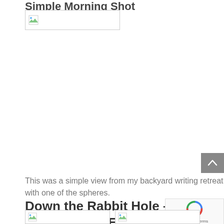Simple Morning Shot
[Figure (photo): Broken/unloaded image placeholder at top of article]
This was a simple view from my backyard writing retreat, with one of the spheres.
Down the Rabbit Hole – Playing with Layered Effects
[Figure (photo): Two broken/unloaded image placeholders at bottom]